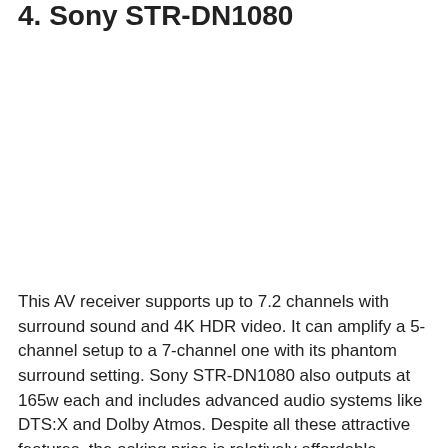4. Sony STR-DN1080
This AV receiver supports up to 7.2 channels with surround sound and 4K HDR video. It can amplify a 5-channel setup to a 7-channel one with its phantom surround setting. Sony STR-DN1080 also outputs at 165w each and includes advanced audio systems like DTS:X and Dolby Atmos. Despite all these attractive features, the asking price is relatively affordable.